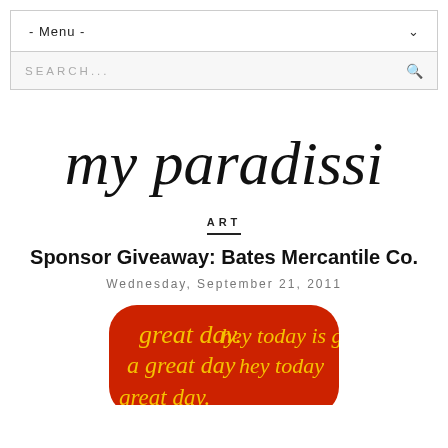- Menu -
SEARCH...
[Figure (illustration): Cursive handwritten script logo reading 'my paradissi']
ART
Sponsor Giveaway: Bates Mercantile Co.
Wednesday, September 21, 2011
[Figure (photo): Red rounded rectangle shape with yellow cursive text repeating 'great day. hey today is go...']